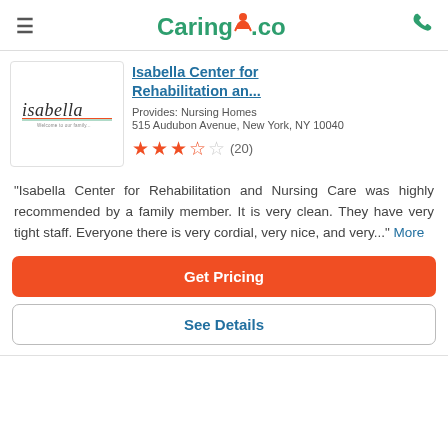Caring.com
Isabella Center for Rehabilitation an...
Provides: Nursing Homes
515 Audubon Avenue, New York, NY 10040
★★★½☆ (20)
[Figure (logo): Isabella - Welcome to our family logo]
"Isabella Center for Rehabilitation and Nursing Care was highly recommended by a family member. It is very clean. They have very tight staff. Everyone there is very cordial, very nice, and very..." More
Get Pricing
See Details